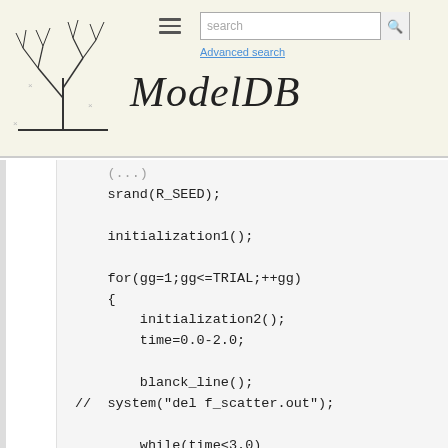ModelDB — Advanced search
srand(R_SEED);

initialization1();

for(gg=1;gg<=TRIAL;++gg)
{
    initialization2();
    time=0.0-2.0;

    blanck_line();
//  system("del f_scatter.out");

    while(time<3.0)
    {
        time=time+dt;
        rewrite();
        I_on_off();
        update();
        if(((int)(time/dt)%50)==
0)